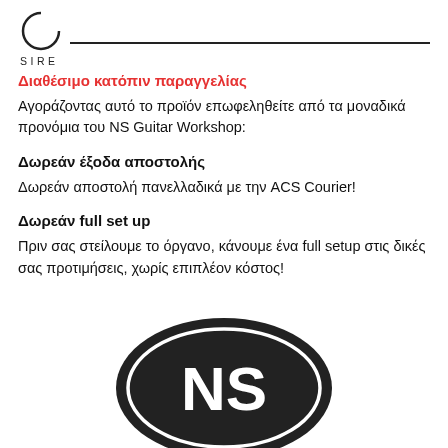[Figure (logo): Partial circle logo (SIRE brand) at top left with a horizontal line to the right]
SIRE
Διαθέσιμο κατόπιν παραγγελίας
Αγοράζοντας αυτό το προϊόν επωφεληθείτε από τα μοναδικά προνόμια του NS Guitar Workshop:
Δωρεάν έξοδα αποστολής
Δωρεάν αποστολή πανελλαδικά με την ACS Courier!
Δωρεάν full set up
Πριν σας στείλουμε το όργανο, κάνουμε ένα full setup στις δικές σας προτιμήσεις, χωρίς επιπλέον κόστος!
[Figure (logo): NS Guitar Workshop dark oval logo with NS letters in white at bottom of page]